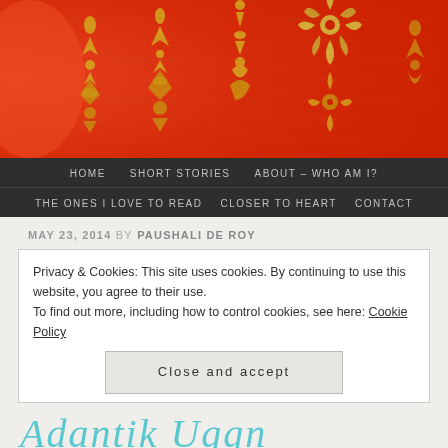[Figure (photo): Red decorative banner with golden floral and ornamental patterns on a red background, resembling Thai or Asian textile design.]
HOME   SHORT STORIES   ABOUT – WHO AM I?
THE ONES I LOVE TO READ   CLOSER TO HEART   CONTACT
MAY 23, 2014 BY PAUSHALI DE ROY
Privacy & Cookies: This site uses cookies. By continuing to use this website, you agree to their use.
To find out more, including how to control cookies, see here: Cookie Policy
Close and accept
Adantik Uggn